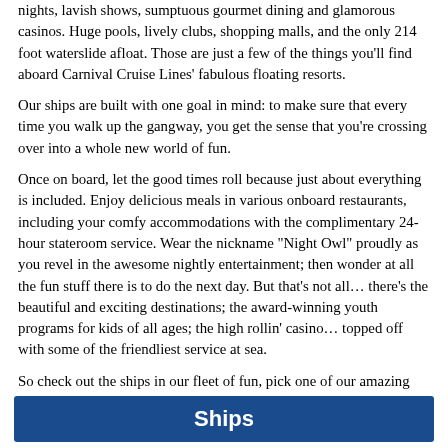nights, lavish shows, sumptuous gourmet dining and glamorous casinos. Huge pools, lively clubs, shopping malls, and the only 214 foot waterslide afloat. Those are just a few of the things you'll find aboard Carnival Cruise Lines' fabulous floating resorts.
Our ships are built with one goal in mind: to make sure that every time you walk up the gangway, you get the sense that you're crossing over into a whole new world of fun.
Once on board, let the good times roll because just about everything is included. Enjoy delicious meals in various onboard restaurants, including your comfy accommodations with the complimentary 24-hour stateroom service. Wear the nickname "Night Owl" proudly as you revel in the awesome nightly entertainment; then wonder at all the fun stuff there is to do the next day. But that's not all… there's the beautiful and exciting destinations; the award-winning youth programs for kids of all ages; the high rollin' casino… topped off with some of the friendliest service at sea.
So check out the ships in our fleet of fun, pick one of our amazing itineraries, and hop on board, cause we're headed out to Funville.
Ships